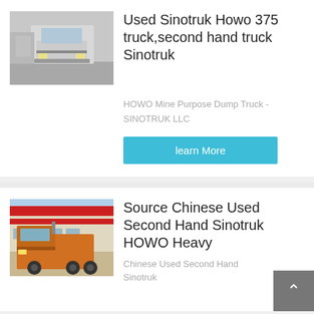[Figure (photo): Front view of a white Sinotruk HOWO 375 truck on a road]
Used Sinotruk Howo 375 truck,second hand truck Sinotruk
HOWO Mine Purpose Dump Truck - SINOTRUK LLC
learn More
[Figure (photo): Orange Sinotruk HOWO heavy truck parked in front of a building with red banners]
Source Chinese Used Second Hand Sinotruk HOWO Heavy
Chinese Used Second Hand Sinotruk